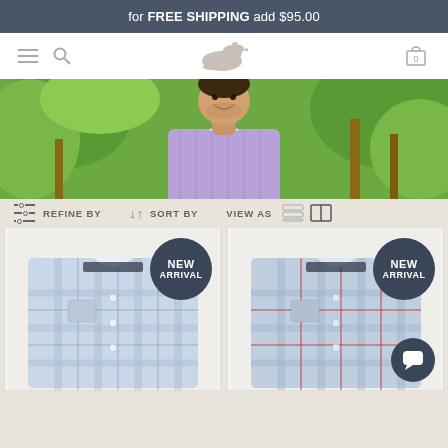for FREE SHIPPING add $95.00
[Figure (screenshot): Navigation bar with hamburger menu, search icon, duck logo, and cart icon showing 0]
[Figure (photo): Hero image of smiling man wearing a purple/lilac plaid button-down shirt outdoors with tropical palm trees in background]
REFINE BY   SORT BY   VIEW AS
[Figure (photo): Product card showing a blue plaid dress shirt with NEW ARRIVAL badge]
[Figure (photo): Product card showing a blue and red plaid dress shirt with NEW ARRIVAL badge and chat bubble icon]